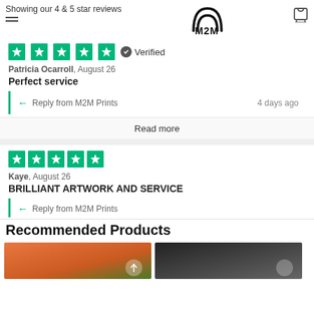Showing our 4 & 5 star reviews | M2M Prints logo
5 stars — Verified
Patricia Ocarroll, August 26
Perfect service
Reply from M2M Prints — 4 days ago
Read more
5 stars
Kaye, August 26
BRILLIANT ARTWORK AND SERVICE
Reply from M2M Prints
Recommended Products